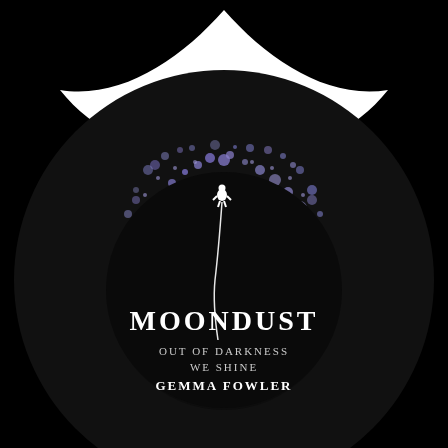[Figure (illustration): Book cover for 'Moondust: Out of Darkness We Shine' by Gemma Fowler. Black background with a large dark circle surrounded by a ring of scattered purple/lavender dust particles. A small astronaut figure floats above the circle connected by a curving white tether line. Two white curved shapes appear at the top like wings or horns against the black. Inside the dark circle, white text reads 'MOONDUST', 'OUT OF DARKNESS', 'WE SHINE', 'GEMMA FOWLER'.]